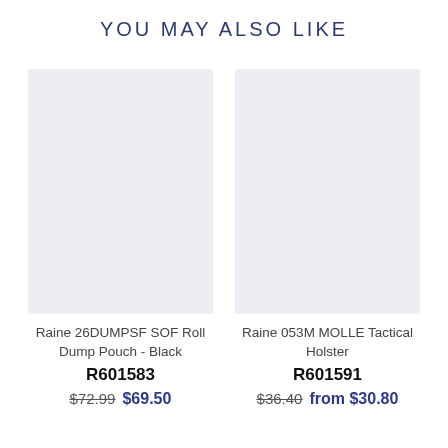YOU MAY ALSO LIKE
[Figure (photo): Placeholder image for Raine 26DUMPSF SOF Roll Dump Pouch - Black, light gray/blue background]
Raine 26DUMPSF SOF Roll Dump Pouch - Black
R601583
$72.99  $69.50
[Figure (photo): Placeholder image for Raine 053M MOLLE Tactical Holster, light gray/blue background]
Raine 053M MOLLE Tactical Holster
R601591
$36.40  from $30.80